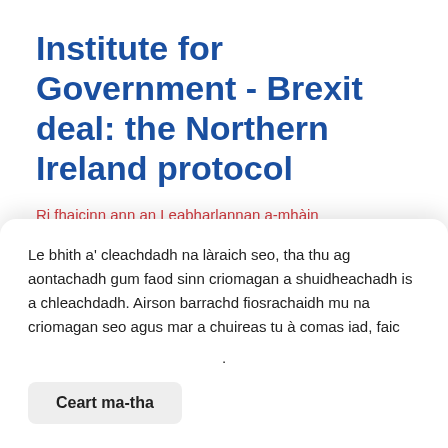Institute for Government - Brexit deal: the Northern Ireland protocol
Ri fhaicinn ann an Leabharlannan a-mhàin
Article on the Institute for Government website about the Northern Ireland protocol which aims to avoid the
Le bhith a' cleachdadh na làraich seo, tha thu ag aontachadh gum faod sinn criomagan a shuidheachadh is a chleachdadh. Airson barrachd fiosrachaidh mu na criomagan seo agus mar a chuireas tu à comas iad, faic
.
Ceart ma-tha